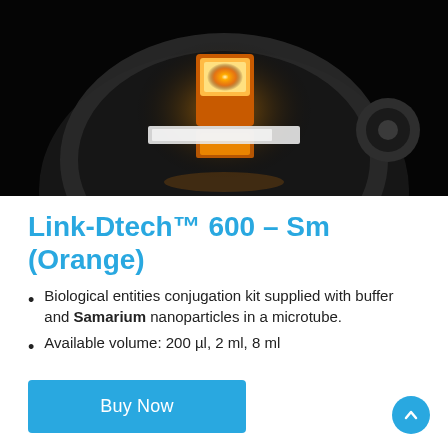[Figure (photo): Close-up macro photo of an orange/amber glowing electronic component (likely an LED or optical sensor) mounted on a dark circular device against a black background.]
Link-Dtech™ 600 – Sm (Orange)
Biological entities conjugation kit supplied with buffer and Samarium nanoparticles in a microtube.
Available volume: 200 µl, 2 ml, 8 ml